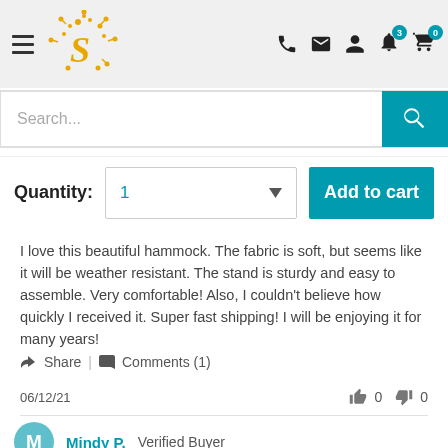Navigation bar with hamburger menu, logo, search icons, phone, mail, account, notifications (3), cart (0)
Search...
Quantity: 1  Add to cart
I love this beautiful hammock. The fabric is soft, but seems like it will be weather resistant. The stand is sturdy and easy to assemble. Very comfortable! Also, I couldn't believe how quickly I received it. Super fast shipping! I will be enjoying it for many years!
Share | Comments (1)
06/12/21  👍 0  👎 0
Mindy P. Verified Buyer